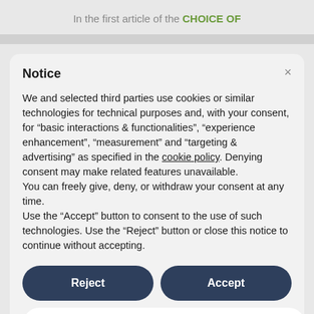In the first article of the CHOICE OF
Notice
We and selected third parties use cookies or similar technologies for technical purposes and, with your consent, for “basic interactions & functionalities”, “experience enhancement”, “measurement” and “targeting & advertising” as specified in the cookie policy. Denying consent may make related features unavailable.
You can freely give, deny, or withdraw your consent at any time.
Use the “Accept” button to consent to the use of such technologies. Use the “Reject” button or close this notice to continue without accepting.
Reject
Accept
Learn more and customise